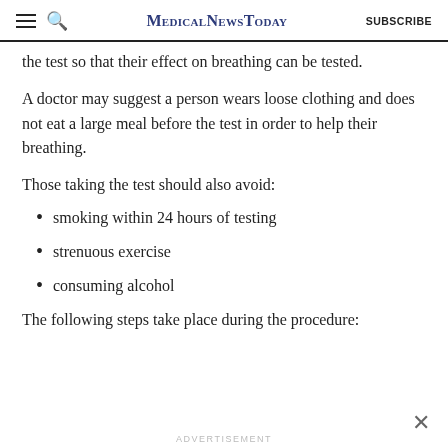MedicalNewsToday | SUBSCRIBE
the test so that their effect on breathing can be tested.
A doctor may suggest a person wears loose clothing and does not eat a large meal before the test in order to help their breathing.
Those taking the test should also avoid:
smoking within 24 hours of testing
strenuous exercise
consuming alcohol
The following steps take place during the procedure: